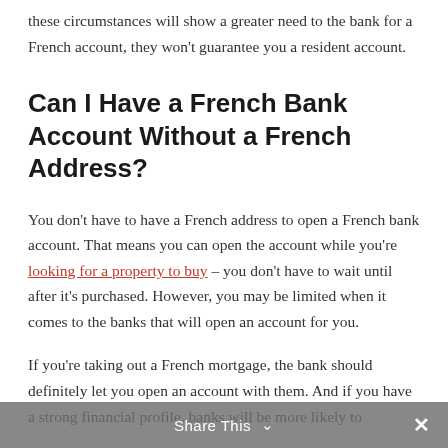these circumstances will show a greater need to the bank for a French account, they won't guarantee you a resident account.
Can I Have a French Bank Account Without a French Address?
You don't have to have a French address to open a French bank account. That means you can open the account while you're looking for a property to buy – you don't have to wait until after it's purchased. However, you may be limited when it comes to the banks that will open an account for you.
If you're taking out a French mortgage, the bank should definitely let you open an account with them. And if you have a strong financial profile, banks will be more likely to
Share This